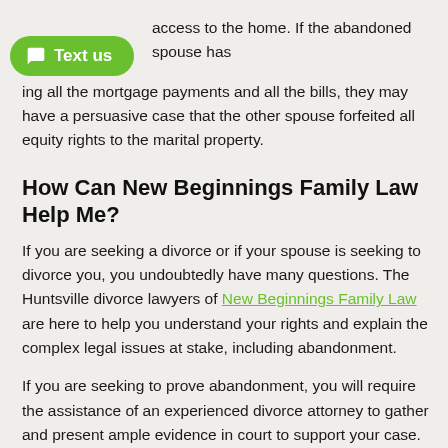access to the home. If the abandoned spouse has [been pay]ing all the mortgage payments and all the bills, they may have a persuasive case that the other spouse forfeited all equity rights to the marital property.
How Can New Beginnings Family Law Help Me?
If you are seeking a divorce or if your spouse is seeking to divorce you, you undoubtedly have many questions. The Huntsville divorce lawyers of New Beginnings Family Law are here to help you understand your rights and explain the complex legal issues at stake, including abandonment.
If you are seeking to prove abandonment, you will require the assistance of an experienced divorce attorney to gather and present ample evidence in court to support your case. If your spouse is claiming abandonment, we'll stand by you and help you fight back.